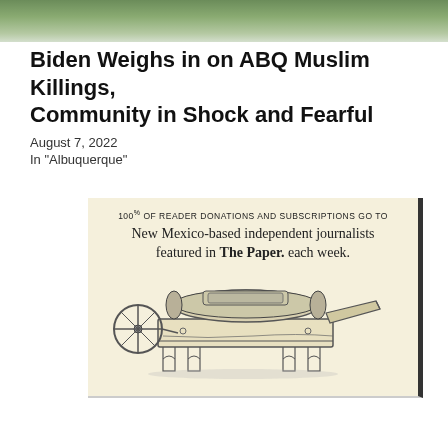[Figure (photo): Top cropped image showing outdoor scene with greenery]
Biden Weighs in on ABQ Muslim Killings, Community in Shock and Fearful
August 7, 2022
In "Albuquerque"
[Figure (illustration): Advertisement banner with cream background showing text '100% OF READER DONATIONS AND SUBSCRIPTIONS GO TO New Mexico-based independent journalists featured in The Paper. each week.' with a vintage printing press illustration below]